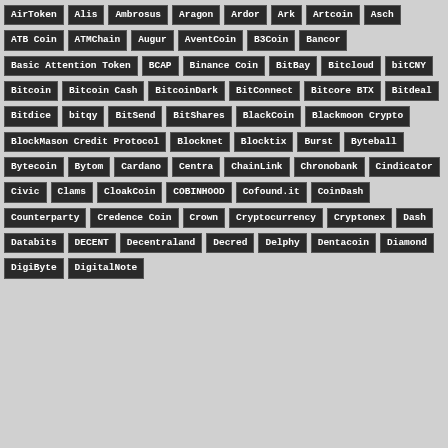AirToken
Alis
Ambrosus
Aragon
Ardor
Ark
Artcoin
Asch
ATB Coin
ATMChain
Augur
AventCoin
B3Coin
Bancor
Basic Attention Token
BCAP
Binance Coin
BitBay
Bitcloud
bitCNY
Bitcoin
Bitcoin Cash
BitcoinDark
BitConnect
Bitcore BTX
Bitdeal
Bitdice
bitqy
BitSend
BitShares
BlackCoin
Blackmoon Crypto
BlockMason Credit Protocol
Blocknet
Blocktix
Burst
Byteball
Bytecoin
Bytom
Cardano
Centra
ChainLink
Chronobank
Cindicator
Civic
Clams
CloakCoin
COBINHOOD
Cofound.it
CoinDash
Counterparty
Credence Coin
Crown
Cryptocurrency
Cryptonex
Dash
Databits
DECENT
Decentraland
Decred
Delphy
Dentacoin
Diamond
DigiByte
DigitalNote